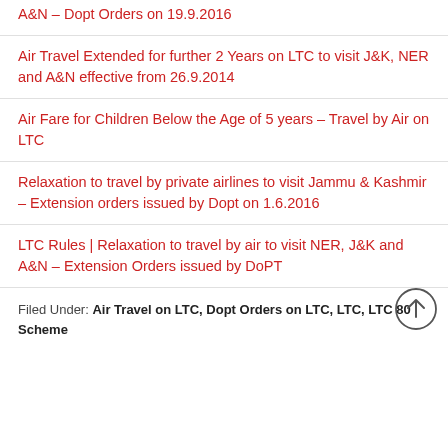A&N – Dopt Orders on 19.9.2016
Air Travel Extended for further 2 Years on LTC to visit J&K, NER and A&N effective from 26.9.2014
Air Fare for Children Below the Age of 5 years – Travel by Air on LTC
Relaxation to travel by private airlines to visit Jammu & Kashmir – Extension orders issued by Dopt on 1.6.2016
LTC Rules | Relaxation to travel by air to visit NER, J&K and A&N – Extension Orders issued by DoPT
Filed Under: Air Travel on LTC, Dopt Orders on LTC, LTC, LTC 80 Scheme